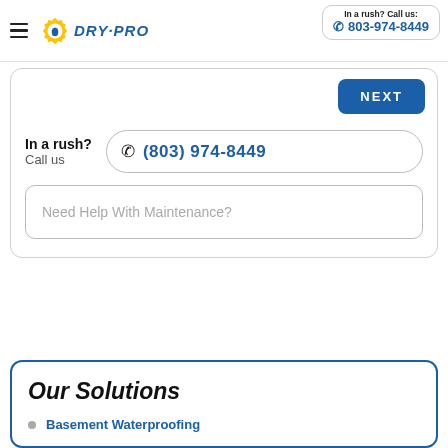DRY-PRO | In a rush? Call us: 803-974-8449
NEXT
In a rush?
Call us
(803) 974-8449
Need Help With Maintenance?
Our Solutions
Basement Waterproofing